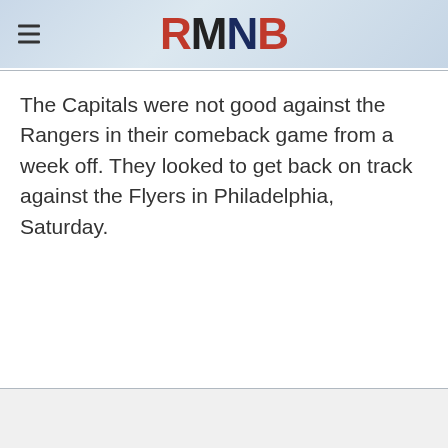RMNB
The Capitals were not good against the Rangers in their comeback game from a week off. They looked to get back on track against the Flyers in Philadelphia, Saturday.